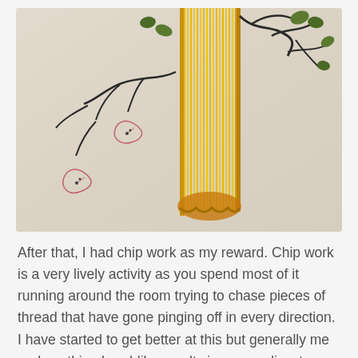[Figure (photo): Close-up photograph of embroidery work on light fabric showing golden/yellow thread arranged in vertical and diagonal lines forming what appears to be a decorative column or tree trunk, with dark thread branches and green leaf clusters at the top, and outline-only leaf shapes in pinkish-red thread on the lower left side of the fabric.]
After that, I had chip work as my reward. Chip work is a very lively activity as you spend most of it running around the room trying to chase pieces of thread that have gone pinging off in every direction. I have started to get better at this but generally me and anything bead-like results in messy disasters, please don't ask what happened to one of my